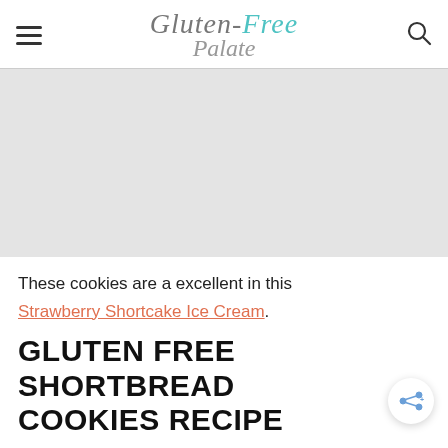Gluten-Free Palate
[Figure (photo): Gray placeholder image area for a cookie photo]
These cookies are a excellent in this Strawberry Shortcake Ice Cream.
GLUTEN FREE SHORTBREAD COOKIES RECIPE